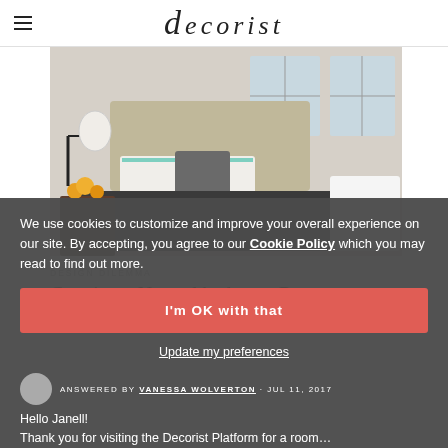decorist
[Figure (photo): Bedroom interior with neutral tones, upholstered headboard, dark bedding with teal accents, white pillows, wall-mounted lamp, wooden nightstand with flowers, two windows with natural light]
DESIGN DILEMMA
Creating a Neutral bedroom Retreat
We use cookies to customize and improve your overall experience on our site. By accepting, you agree to our Cookie Policy which you may read to find out more.
I'm OK with that
Update my preferences
ANSWERED BY VANESSA WOLVERTON · JUL 11, 2017
Hello Janell!
Thank you for visiting the Decorist Platform for a room...